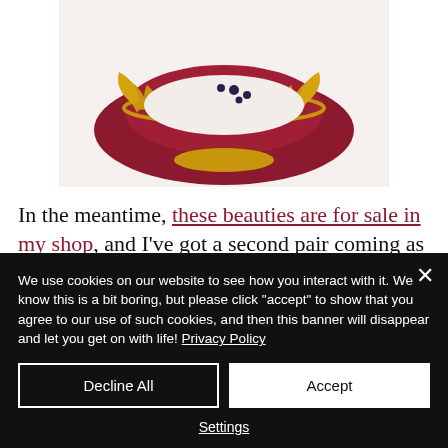[Figure (photo): Decorative red and gold ornamental dish or bowl with floral elements, photographed from above against a white background.]
In the meantime, these beauties are for sale in my shop, and I've got a second pair coming as well, which is even more outrageous but need a bit of repair, so it will
We use cookies on our website to see how you interact with it. We know this is a bit boring, but please click "accept" to show that you agree to our use of such cookies, and then this banner will disappear and let you get on with life! Privacy Policy
Decline All
Accept
Settings